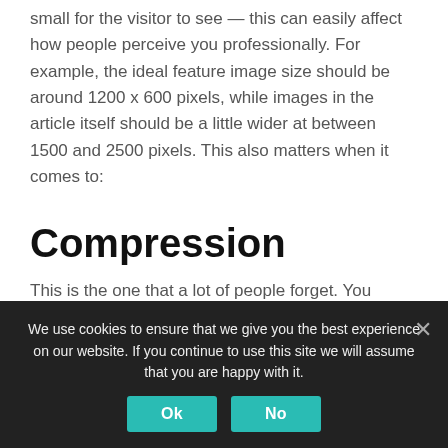small for the visitor to see — this can easily affect how people perceive you professionally. For example, the ideal feature image size should be around 1200 x 600 pixels, while images in the article itself should be a little wider at between 1500 and 2500 pixels. This also matters when it comes to:
Compression
This is the one that a lot of people forget. You
We use cookies to ensure that we give you the best experience on our website. If you continue to use this site we will assume that you are happy with it.